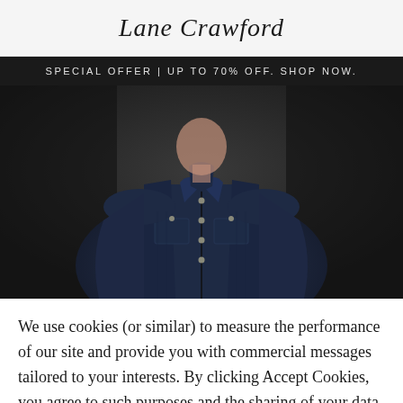Lane Crawford
SPECIAL OFFER | UP TO 70% OFF. SHOP NOW.
[Figure (photo): A model wearing a dark denim jacket, upper body shot against a dark grey background.]
We use cookies (or similar) to measure the performance of our site and provide you with commercial messages tailored to your interests. By clicking Accept Cookies, you agree to such purposes and the sharing of your data with our trusted partners. For EU visitors, you can find out more and withdraw your consent at any time by clicking